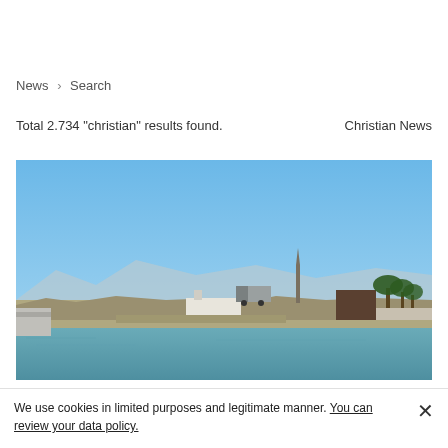News > Search
Total 2.734 "christian" results found.
Christian News
[Figure (photo): Coastal scene with blue sky, rocky shoreline, a truck, a crane or monument structure, buildings, and palm trees with mountains in the background. Water in the foreground.]
We use cookies in limited purposes and legitimate manner. You can review your data policy.